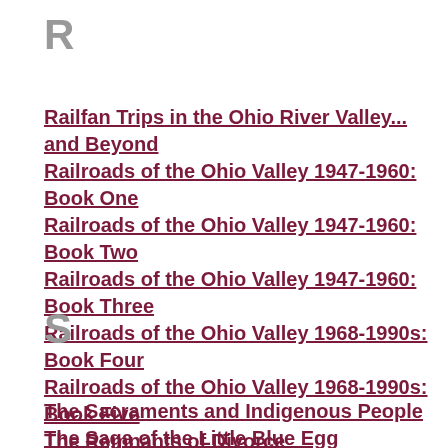R
Railfan Trips in the Ohio River Valley... and Beyond
Railroads of the Ohio Valley 1947-1960: Book One
Railroads of the Ohio Valley 1947-1960: Book Two
Railroads of the Ohio Valley 1947-1960: Book Three
Railroads of the Ohio Valley 1968-1990s: Book Four
Railroads of the Ohio Valley 1968-1990s: Book Five
The Remnants of Divorce
Rode to Glory
S
The Sacraments and Indigenous People
The Saga of the Little Blue Egg
The Scandal of Jennie Scott
Schoolboy Trojans
The Secret Diary of Mother Mary